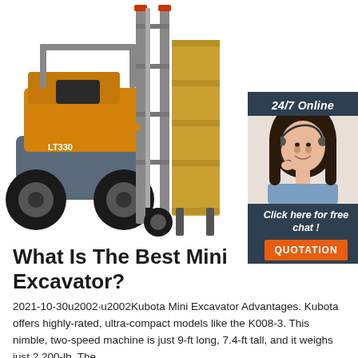[Figure (photo): Orange and grey forklift (model LT330) with raised mast and forks, photographed on white background]
[Figure (infographic): 24/7 online chat widget with dark blue/slate background, photo of smiling female customer service agent with headset, text 'Click here for free chat!' and orange QUOTATION button]
What Is The Best Mini Excavator?
2021-10-30u2002·u2002Kubota Mini Excavator Advantages. Kubota offers highly-rated, ultra-compact models like the K008-3. This nimble, two-speed machine is just 9-ft long, 7.4-ft tall, and it weighs just 2,200-lb. The